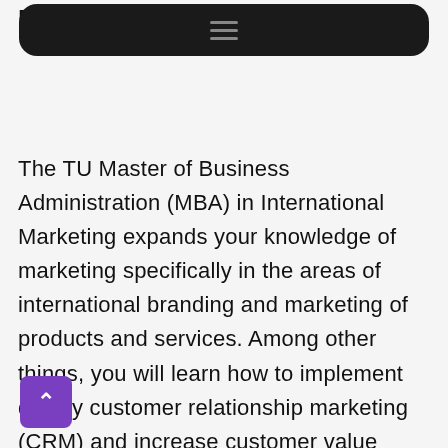MBA Program Overview
The TU Master of Business Administration (MBA) in International Marketing expands your knowledge of marketing specifically in the areas of international branding and marketing of products and services. Among other things, you will learn how to implement quality customer relationship marketing (CRM) and increase customer value through an understanding of long-term customer loyalty. In your future career, your team, your business partners, and especially your customers will be the central focus of your work which you will